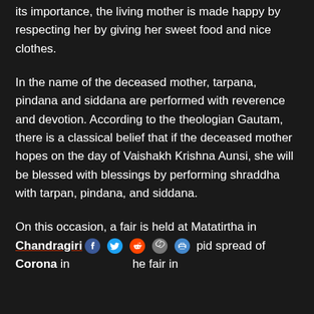its importance, the living mother is made happy by respecting her by giving her sweet food and nice clothes.
In the name of the deceased mother, tarpana, pindana and siddana are performed with reverence and devotion. According to the theologian Gautam, there is a classical belief that if the deceased mother hopes on the day of Vaishakh Krishna Aunsi, she will be blessed with blessings by performing shraddha with tarpan, pindana, and siddana.
On this occasion, a fair is held at Matatirtha in Chandragiri [social icons] pid spread of Corona in [social icons] he fair in